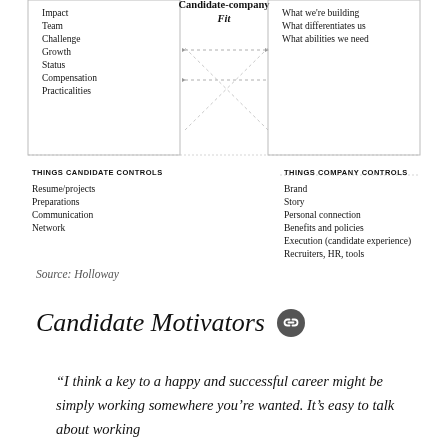[Figure (infographic): Candidate-Company Fit diagram showing two boxes: left box lists candidate motivators (Impact, Team, Challenge, Growth, Status, Compensation, Practicalities), right box lists company pitch elements (What we're building, What differentiates us, What abilities we need). Two crossed dashed arrows connect the boxes in an X pattern. Below are two columns: THINGS CANDIDATE CONTROLS (Resume/projects, Preparations, Communication, Network) and THINGS COMPANY CONTROLS (Brand, Story, Personal connection, Benefits and policies, Execution (candidate experience), Recruiters, HR, tools).]
Source: Holloway
Candidate Motivators
“I think a key to a happy and successful career might be simply working somewhere you’re wanted. It’s easy to talk about working